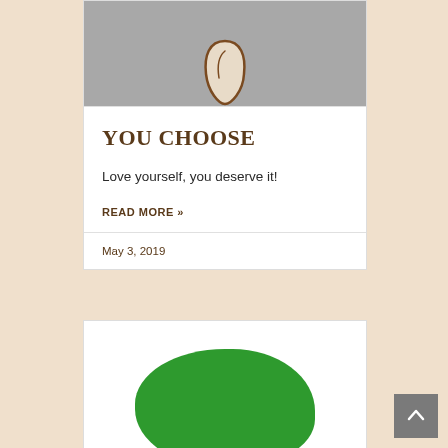[Figure (illustration): Partial gray background with a small light-colored seed or bean shape outlined in brown, visible at the top of a card.]
YOU CHOOSE
Love yourself, you deserve it!
READ MORE »
May 3, 2019
[Figure (illustration): Green blob shape resembling a cartoon tree or bush on a white background, partially cropped.]